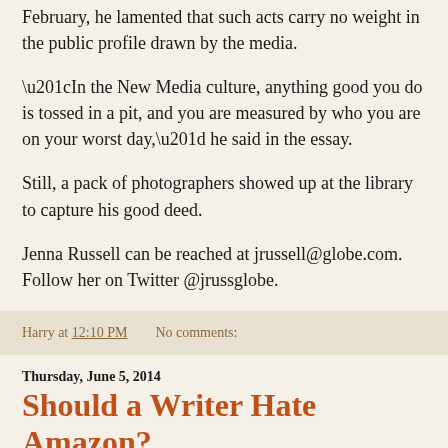February, he lamented that such acts carry no weight in the public profile drawn by the media.
“In the New Media culture, anything good you do is tossed in a pit, and you are measured by who you are on your worst day,” he said in the essay.
Still, a pack of photographers showed up at the library to capture his good deed.
Jenna Russell can be reached at jrussell@globe.com. Follow her on Twitter @jrussglobe.
Harry at 12:10 PM    No comments:
Thursday, June 5, 2014
Should a Writer Hate Amazon?
Alex Beam’s Boston Globe article, below, provides food for thought when he reminds us that, "...the interests of authors and publishers do not always align....authors have literary agents...to